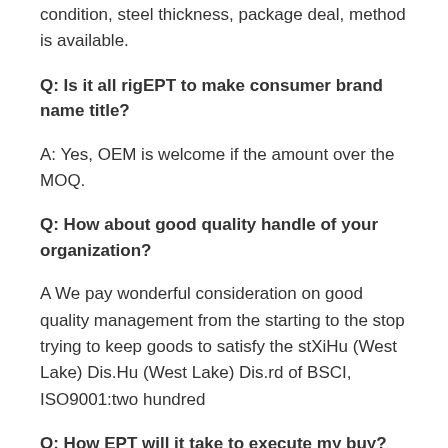condition, steel thickness, package deal, method is available.
Q: Is it all rigEPT to make consumer brand name title?
A: Yes, OEM is welcome if the amount over the MOQ.
Q: How about good quality handle of your organization?
A We pay wonderful consideration on good quality management from the starting to the stop trying to keep goods to satisfy the stXiHu (West Lake) Dis.Hu (West Lake) Dis.rd of BSCI, ISO9001:two hundred
Q: How EPT will it take to execute my buy?
A:This relies upon on the dimensions and compleXiHu (West Lake) Dis.ty of the get. You should enable us know the amount and your EPT prerequisite of the items so that we can suggest a